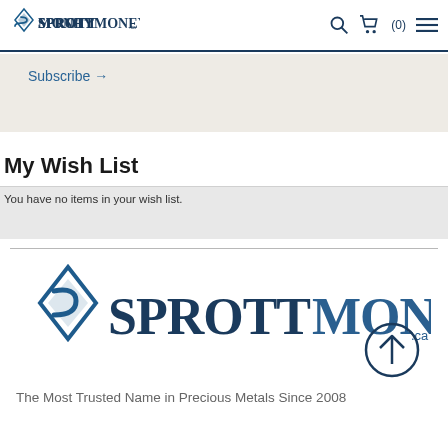Sprott Money — navigation header with logo, search, cart (0), and menu
Subscribe →
My Wish List
You have no items in your wish list.
[Figure (logo): Sprott Money logo — large version in footer with up-arrow circle icon]
The Most Trusted Name in Precious Metals Since 2008